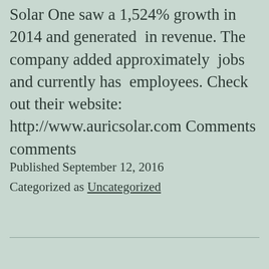Solar One saw a 1,524% growth in 2014 and generated  in revenue. The company added approximately  jobs and currently has  employees. Check out their website: http://www.auricsolar.com Comments comments
Published September 12, 2016
Categorized as Uncategorized